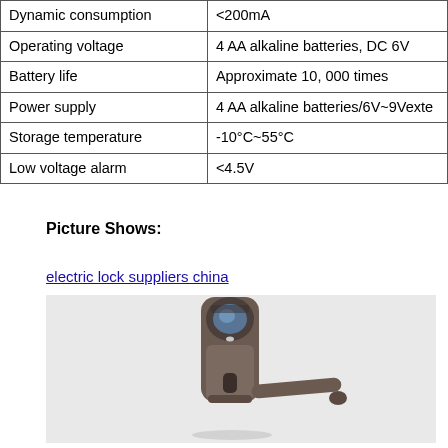| Property | Value |
| --- | --- |
| Dynamic consumption | <200mA |
| Operating voltage | 4 AA alkaline batteries, DC 6V |
| Battery life | Approximate 10, 000 times |
| Power supply | 4 AA alkaline batteries/6V~9Vexte |
| Storage temperature | -10°C~55°C |
| Low voltage alarm | <4.5V |
Picture Shows:
electric lock suppliers china
[Figure (photo): Electric door lock with fingerprint scanner on top and lever handle, bronze/dark grey color, photographed against white background]